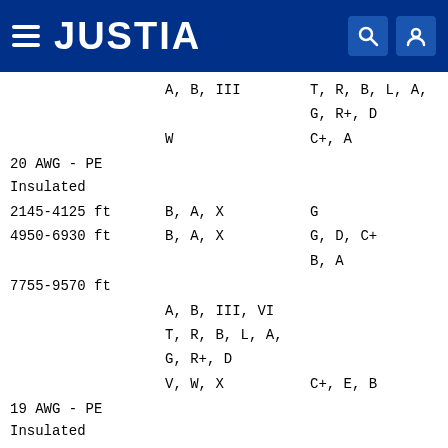JUSTIA
| Column A | Column B | Column C |
| --- | --- | --- |
|  | A, B, III | T, R, B, L, A, |
|  |  | G, R+, D |
|  | W | C+, A |
| 20 AWG - PE |  |  |
| Insulated |  |  |
| 2145-4125 ft | B, A, X | G |
| 4950-6930 ft | B, A, X | G, D, C+ |
|  |  | B, A |
| 7755-9570 ft |  |  |
|  | A, B, III, VI |  |
|  | T, R, B, L, A, |  |
|  | G, R+, D |  |
|  | V, W, X | C+, E, B |
| 19 AWG - PE |  |  |
| Insulated |  |  |
| 2475-4785 ft | B, A, X | G |
| 7000-7000 ft | B, A, X |  |